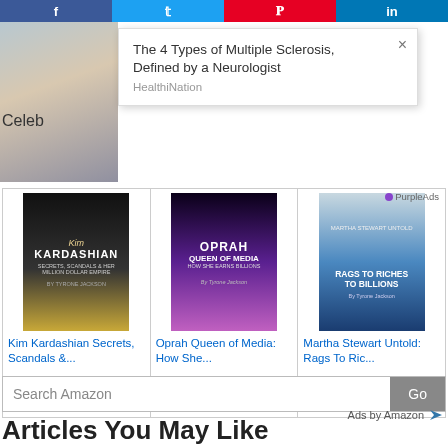[Figure (screenshot): Social media share buttons bar: Facebook, Twitter, Pinterest, LinkedIn]
[Figure (photo): Two women (medical-themed) in a photo ad]
[Figure (infographic): Popup ad: The 4 Types of Multiple Sclerosis, Defined by a Neurologist - HealthiNation - PurpleAds]
Celeb
[Figure (screenshot): Amazon ad unit with three celebrity books: Kim Kardashian Secrets, Scandals &...$2.99, 3.5 stars (24); Oprah Queen of Media: How She...$2.99, 5 stars (9); Martha Stewart Untold: Rags To Ric...$2.99, 4 stars (5)]
Search Amazon  Go
Ads by Amazon
Articles You May Like